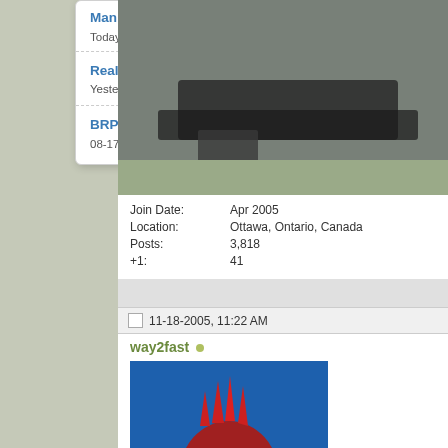Man Ventures 7,000... Today, 08:31 AM in The Watercraft Journal
Real Review: Lucas Slick Mist Fast & Easy Tire & Trim... Yesterday, 09:58 AM in The Watercraft Journal
BRP Begins Construction of Electric Research &... 08-17-2022, 09:30 AM in The Watercraft Journal
[Figure (photo): Photo of what appears to be a watercraft or equipment on gravel/beach]
Join Date: Apr 2005
Location: Ottawa, Ontario, Canada
Posts: 3,818
+1: 41
11-18-2005, 11:22 AM
way2fast
[Figure (photo): Avatar image of a cartoon mean-looking red fish with metal teeth on blue background]
Join Date: May 2005
Location: Melbourne Beach
Posts: 4,009
+1: 4